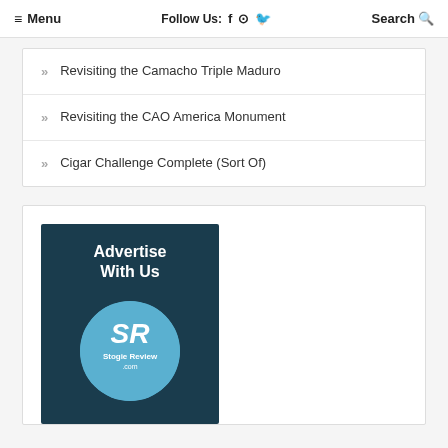≡ Menu   Follow Us: f  ⊙  🐦   Search 🔍
» Revisiting the Camacho Triple Maduro
» Revisiting the CAO America Monument
» Cigar Challenge Complete (Sort Of)
[Figure (illustration): Advertisement banner with dark blue background showing 'Advertise With Us' text and the Stogie Review logo (SR initials in a blue circle with StogiereView.com text)]